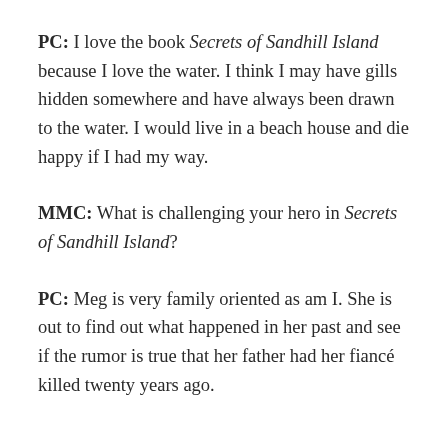PC:  I love the book Secrets of Sandhill Island because I love the water.  I think I may have gills hidden somewhere and have always been drawn to the water.  I would live in a beach house and die happy if I had my way.
MMC:  What is challenging your hero in Secrets of Sandhill Island?
PC:  Meg is very family oriented as am I.  She is out to find out what happened in her past and see if the rumor is true that her father had her fiancé killed twenty years ago.